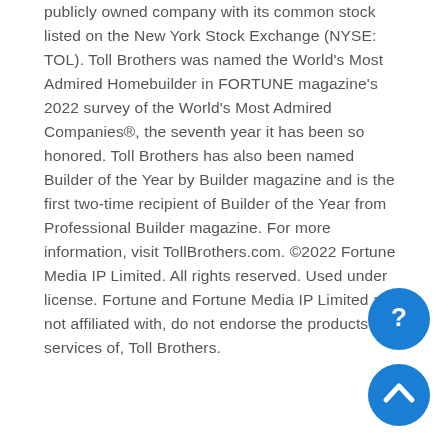publicly owned company with its common stock listed on the New York Stock Exchange (NYSE: TOL). Toll Brothers was named the World's Most Admired Homebuilder in FORTUNE magazine's 2022 survey of the World's Most Admired Companies®, the seventh year it has been so honored. Toll Brothers has also been named Builder of the Year by Builder magazine and is the first two-time recipient of Builder of the Year from Professional Builder magazine. For more information, visit TollBrothers.com. ©2022 Fortune Media IP Limited. All rights reserved. Used under license. Fortune and Fortune Media IP Limited are not affiliated with, do not endorse the products or services of, Toll Brothers.
[Figure (other): Blue circular chat/help button with question mark icon, positioned in lower right area]
[Figure (other): Blue circular scroll-to-top button with upward chevron arrow, positioned at bottom right]